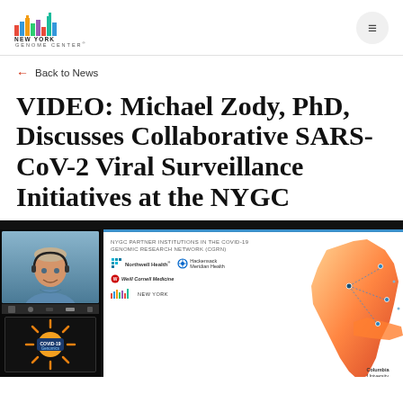New York Genome Center logo and navigation
← Back to News
VIDEO: Michael Zody, PhD, Discusses Collaborative SARS-CoV-2 Viral Surveillance Initiatives at the NYGC
[Figure (screenshot): Video screenshot showing Michael Zody speaking via video call, with a presentation slide about NYGC Partner Institutions in the COVID-19 Genomic Research Network (CGRN) showing logos of Northwell Health, Hackensack Meridian Health, Weill Cornell Medicine, New York Genome Center, Columbia University, and a map of New York area.]